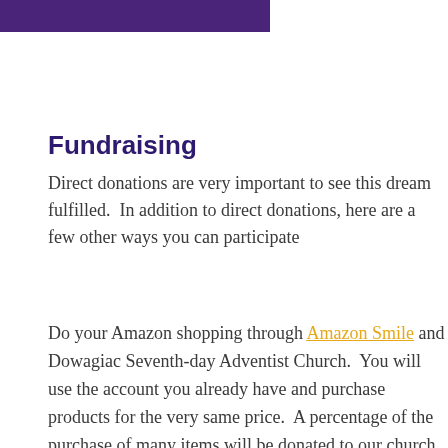[Figure (other): Purple banner/header image, partially visible at top left]
Fundraising
Direct donations are very important to see this dream fulfilled.  In addition to direct donations, here are a few other ways you can participate
Do your Amazon shopping through Amazon Smile and Dowagiac Seventh-day Adventist Church.  You will use the account you already have and purchase products for the very same price.  A percentage of the purchase of many items will be donated to our church to support this fundraising project.